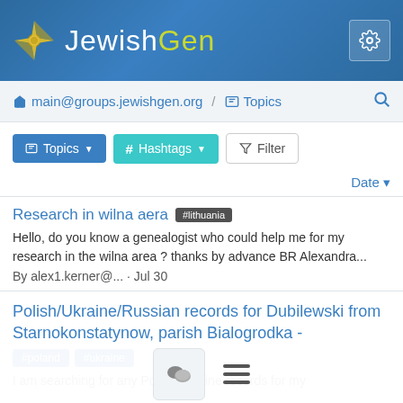[Figure (screenshot): JewishGen website header with logo and gear icon]
main@groups.jewishgen.org / Topics
Topics button, Hashtags button, Filter button
Date ▼
Research in wilna aera #lithuania
Hello, do you know a genealogist who could help me for my research in the wilna area ? thanks by advance BR Alexandra...
By alex1.kerner@... · Jul 30
Polish/Ukraine/Russian records for Dubilewski from Starnokonstatynow, parish Bialogrodka -
#poland #ukraine
I am searching for any Polish/Ukraine records for my